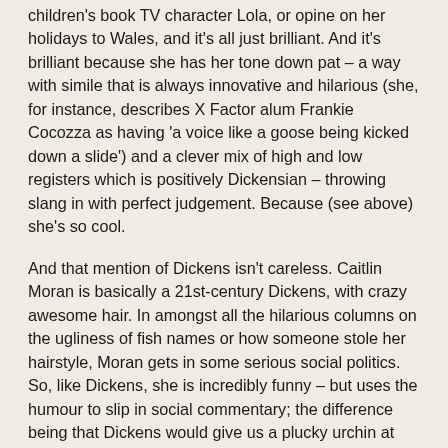children's book TV character Lola, or opine on her holidays to Wales, and it's all just brilliant. And it's brilliant because she has her tone down pat – a way with simile that is always innovative and hilarious (she, for instance, describes X Factor alum Frankie Cocozza as having 'a voice like a goose being kicked down a slide') and a clever mix of high and low registers which is positively Dickensian – throwing slang in with perfect judgement. Because (see above) she's so cool.
And that mention of Dickens isn't careless. Caitlin Moran is basically a 21st-century Dickens, with crazy awesome hair. In amongst all the hilarious columns on the ugliness of fish names or how someone stole her hairstyle, Moran gets in some serious social politics. So, like Dickens, she is incredibly funny – but uses the humour to slip in social commentary; the difference being that Dickens would give us a plucky urchin at the mercy of Sir Starvethechild. It would be glorious, but his point would be rather lost in a thicket of the grotesque. Moran, give or take some emotive wording, just tells it as it is.
Moran grew up on a council estate with eight siblings and...